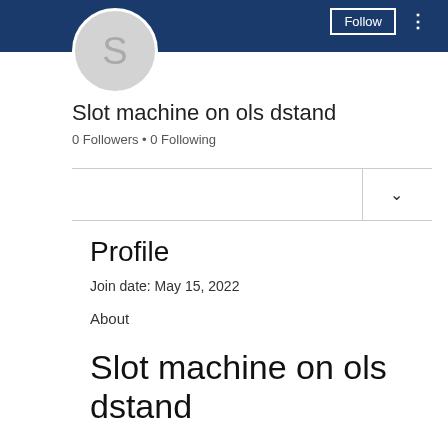[Figure (screenshot): User profile avatar circle with letter S on dark blue banner background with Follow button and three-dot menu]
Slot machine on ols dstand
0 Followers • 0 Following
Profile
Join date: May 15, 2022
About
Slot machine on ols dstand